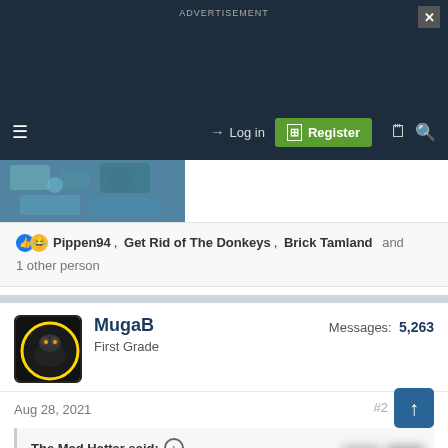ADVERTISEMENT
[Figure (screenshot): Navigation bar with hamburger menu, Log in button, Register button (green), document icon, and search icon on dark navy background]
[Figure (photo): Aerial/satellite thumbnail photo]
Pippen94, Get Rid of The Donkeys, Brick Tamland and 1 other person
MugaB
First Grade
Messages: 5,263
Aug 28, 2021
The Mad Hatter said:
Singapore...